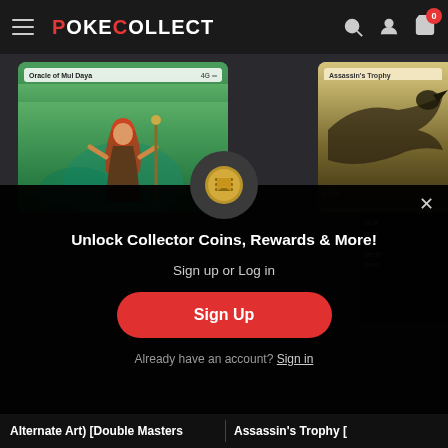POKECOLLECT
[Figure (screenshot): Oracle of Mul Daya Magic card with green art showing a red-haired woman]
[Figure (screenshot): Assassin's Trophy Magic card with sepia/brown art]
[Figure (screenshot): Modal popup with gold coin icon, headline Unlock Collector Coins Rewards & More, Sign Up button, and sign in link]
Unlock Collector Coins, Rewards & More!
Sign up or Log in
Sign Up
Already have an account? Sign in
Alternate Art) [Double Masters
Assassin's Trophy [